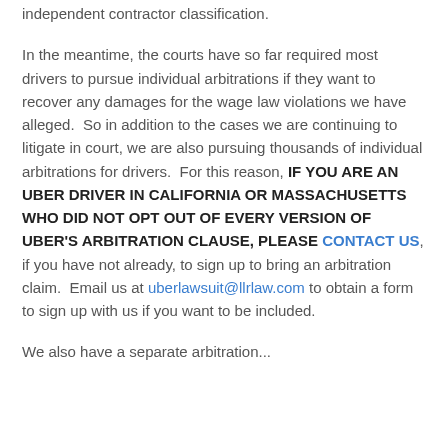independent contractor classification.
In the meantime, the courts have so far required most drivers to pursue individual arbitrations if they want to recover any damages for the wage law violations we have alleged.  So in addition to the cases we are continuing to litigate in court, we are also pursuing thousands of individual arbitrations for drivers.  For this reason, IF YOU ARE AN UBER DRIVER IN CALIFORNIA OR MASSACHUSETTS WHO DID NOT OPT OUT OF EVERY VERSION OF UBER'S ARBITRATION CLAUSE, PLEASE CONTACT US, if you have not already, to sign up to bring an arbitration claim.  Email us at uberlawsuit@llrlaw.com to obtain a form to sign up with us if you want to be included.
We also have a separate arbitration...